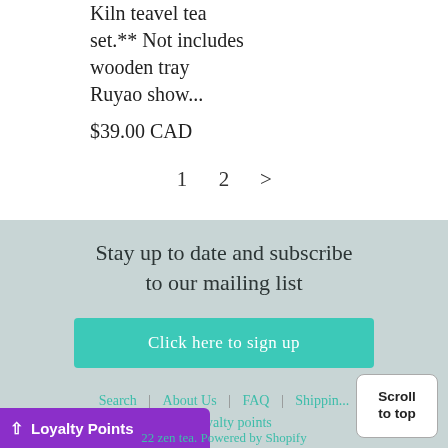Kiln teavel tea set.** Not includes wooden tray Ruyao show...
$39.00 CAD
1  2  >
Stay up to date and subscribe to our mailing list
Click here to sign up
Search | About Us | FAQ | Shipping | Loyalty points
Scroll to top
Loyalty Points
22 zen tea. Powered by Shopify